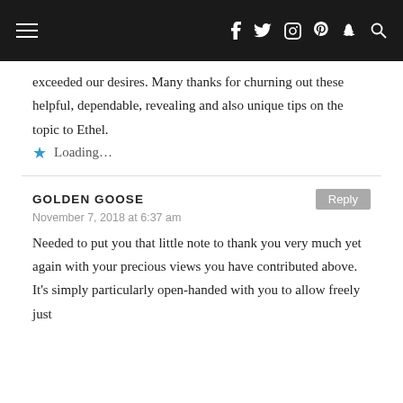Navigation bar with hamburger menu and social icons (f, twitter, instagram, pinterest, snapchat, search)
exceeded our desires. Many thanks for churning out these helpful, dependable, revealing and also unique tips on the topic to Ethel.
★ Loading...
GOLDEN GOOSE
November 7, 2018 at 6:37 am
Needed to put you that little note to thank you very much yet again with your precious views you have contributed above. It's simply particularly open-handed with you to allow freely just